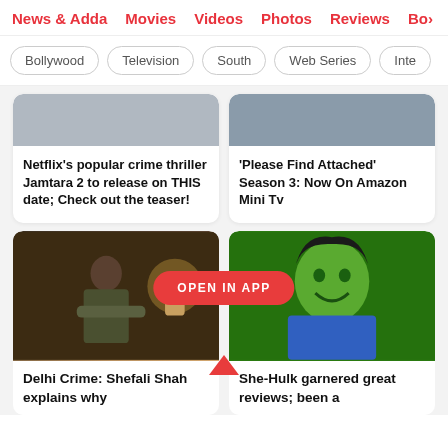News & Adda  Movies  Videos  Photos  Reviews  Bo…
Bollywood
Television
South
Web Series
Inte…
Netflix's popular crime thriller Jamtara 2 to release on THIS date; Check out the teaser!
'Please Find Attached' Season 3: Now On Amazon Mini Tv
[Figure (photo): Woman in police uniform standing in a dimly lit room]
[Figure (photo): Woman with green skin smiling against green background (She-Hulk)]
OPEN IN APP
Delhi Crime: Shefali Shah explains why
She-Hulk garnered great reviews; been a